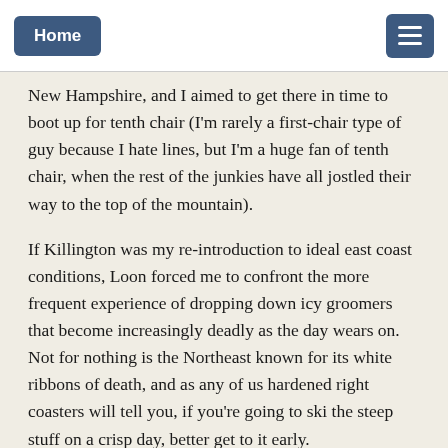Home | [menu]
New Hampshire, and I aimed to get there in time to boot up for tenth chair (I'm rarely a first-chair type of guy because I hate lines, but I'm a huge fan of tenth chair, when the rest of the junkies have all jostled their way to the top of the mountain).
If Killington was my re-introduction to ideal east coast conditions, Loon forced me to confront the more frequent experience of dropping down icy groomers that become increasingly deadly as the day wears on. Not for nothing is the Northeast known for its white ribbons of death, and as any of us hardened right coasters will tell you, if you're going to ski the steep stuff on a crisp day, better get to it early.
I made my way to North Peak to hit some of Loon's steeper trails, lapping Walking Boss and Flume, and carving deep trenches into long stretches of untouched cord before making my way back toward Loon Peak. I